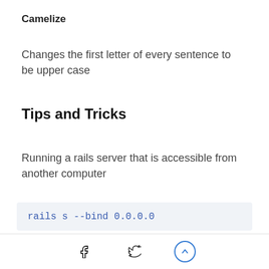Camelize
Changes the first letter of every sentence to be upper case
Tips and Tricks
Running a rails server that is accessible from another computer
rails s --bind 0.0.0.0
This binds your rails server to your network card rather than just the default localhost
Social share icons and scroll-to-top button